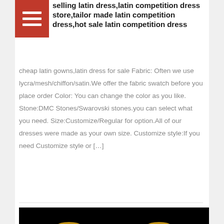selling latin dress,latin competition dress store,tailor made latin competition dress,hot sale latin competition dress
cheap latin gowns,latin dress for sale Fabric: Often we use lycra/mesh/chiffon/satin.We offer the fabric swatch before you place order Color: You can change the color as you like. Stone:DMC Stones/Swarovski stones.you can select what you need. Size:Customize/Regular for option.All of our dresses were made as your own size. Customize style:If you need Customize style or […]
[Figure (photo): Two mannequins displaying a gold sequined latin competition dress against a black background. Left mannequin shows the front view with gold beaded neckpiece and sparkling gold bodice. Right mannequin shows the back view with strappy open back design and gold beaded decorations.]